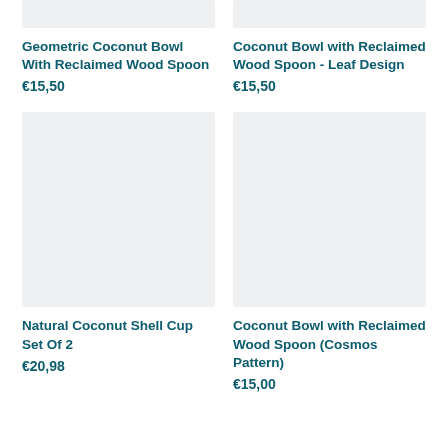[Figure (photo): Product image placeholder for Geometric Coconut Bowl With Reclaimed Wood Spoon]
[Figure (photo): Product image placeholder for Coconut Bowl with Reclaimed Wood Spoon - Leaf Design]
Geometric Coconut Bowl With Reclaimed Wood Spoon
€15,50
Coconut Bowl with Reclaimed Wood Spoon - Leaf Design
€15,50
[Figure (photo): Product image placeholder for Natural Coconut Shell Cup Set Of 2]
[Figure (photo): Product image placeholder for Coconut Bowl with Reclaimed Wood Spoon (Cosmos Pattern)]
Natural Coconut Shell Cup Set Of 2
€20,98
Coconut Bowl with Reclaimed Wood Spoon (Cosmos Pattern)
€15,00